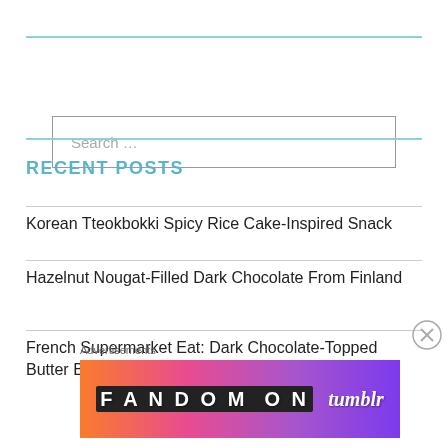[Figure (other): Search box UI element with placeholder text 'Search ...']
RECENT POSTS
Korean Tteokbokki Spicy Rice Cake-Inspired Snack
Hazelnut Nougat-Filled Dark Chocolate From Finland
French Supermarket Eat: Dark Chocolate-Topped Butter Biscuits by Casino Supermarché
Advertisements
[Figure (other): Fandom on Tumblr advertisement banner with colorful gradient background]